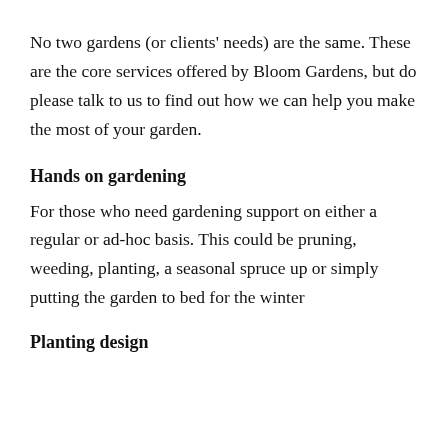No two gardens (or clients' needs) are the same. These are the core services offered by Bloom Gardens, but do please talk to us to find out how we can help you make the most of your garden.
Hands on gardening
For those who need gardening support on either a regular or ad-hoc basis.  This could be pruning, weeding, planting, a seasonal spruce up or simply putting the garden to bed for the winter
Planting design